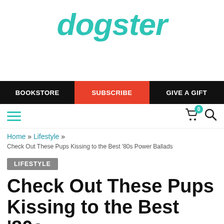dogster
BOOKSTORE   SUBSCRIBE   GIVE A GIFT
Home » Lifestyle »
Check Out These Pups Kissing to the Best '80s Power Ballads
LIFESTYLE
Check Out These Pups Kissing to the Best '80s